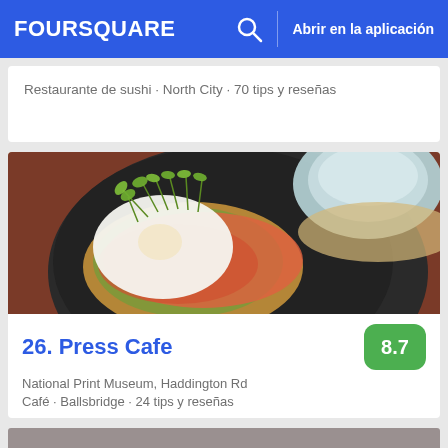FOURSQUARE  Abrir en la aplicación
Restaurante de sushi · North City · 70 tips y reseñas
[Figure (photo): A plate with smoked salmon on toast topped with a poached egg and micro greens, alongside a blue ceramic cup, on a dark skillet on a wooden table.]
26. Press Cafe
National Print Museum, Haddington Rd
Café · Ballsbridge · 24 tips y reseñas
[Figure (photo): Partial view of bottom listing card, cropped.]